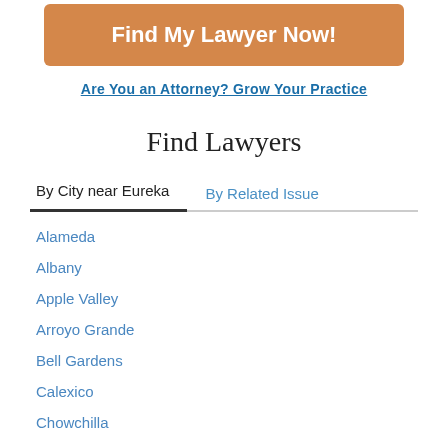[Figure (other): Orange button with white bold text 'Find My Lawyer Now!']
Are You an Attorney? Grow Your Practice
Find Lawyers
By City near Eureka	By Related Issue
Alameda
Albany
Apple Valley
Arroyo Grande
Bell Gardens
Calexico
Chowchilla